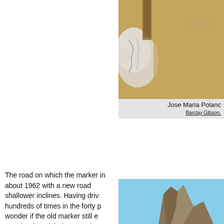[Figure (photo): Close-up photo of a stone or rock marker with cracked texture, set against a sandy/tan background. Text 'BY L' partially visible in upper right corner.]
Jose Maria Polanc
Barclay Gibson,
The road on which the marker in about 1962 with a new road shallower inclines. Having driv hundreds of times in the forty p wonder if the old marker still e people who might know and w was still there. Thus began a s eventually lead to my re-locati ago.
[Figure (photo): Photo of a large rocky cliff or butte formation against a blue sky.]